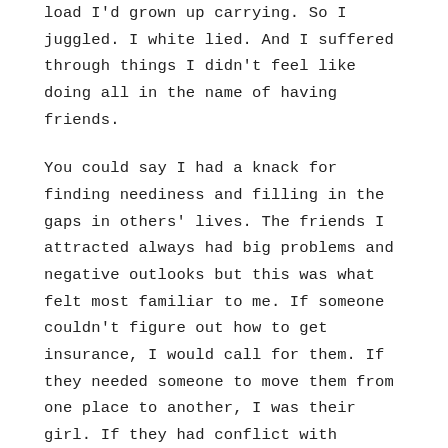load I'd grown up carrying. So I juggled. I white lied. And I suffered through things I didn't feel like doing all in the name of having friends.
You could say I had a knack for finding neediness and filling in the gaps in others' lives. The friends I attracted always had big problems and negative outlooks but this was what felt most familiar to me. If someone couldn't figure out how to get insurance, I would call for them. If they needed someone to move them from one place to another, I was their girl. If they had conflict with someone else, I was there to smooth it over. If they were lonely or sad or angry, it was my role to fix it and I wore the emotions as though they were my own. But because of the one-sidedness to all of these